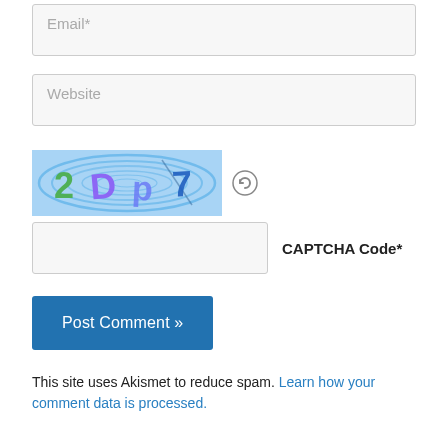[Figure (screenshot): Email input field with placeholder text 'Email*' on light gray background]
[Figure (screenshot): Website input field with placeholder text 'Website' on light gray background]
[Figure (screenshot): CAPTCHA image showing distorted text '2Dp7' with wavy blue background and a refresh icon]
[Figure (screenshot): CAPTCHA code input field with label 'CAPTCHA Code*']
[Figure (screenshot): Blue 'Post Comment »' submit button]
This site uses Akismet to reduce spam. Learn how your comment data is processed.